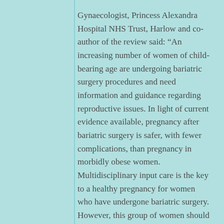Gynaecologist, Princess Alexandra Hospital NHS Trust, Harlow and co-author of the review said: “An increasing number of women of child-bearing age are undergoing bariatric surgery procedures and need information and guidance regarding reproductive issues. In light of current evidence available, pregnancy after bariatric surgery is safer, with fewer complications, than pregnancy in morbidly obese women. Multidisciplinary input care is the key to a healthy pregnancy for women who have undergone bariatric surgery. However, this group of women should still be considered high risk by both obstetricians and surgeons.